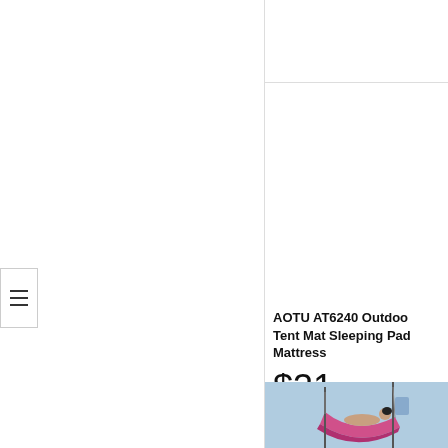[Figure (screenshot): Left panel of a shopping website - white background with a hamburger menu icon on the left edge at mid-page]
AOTU AT6240 Outdoor Tent Mat Sleeping Pad Mattress
$31.52
FREE SHIPPING ELIGIBLE
authentic / wave pattern air c... ultra-light / tearproof / leakpr... proof / water resistant / anti-s... thickness
[Figure (photo): Bottom section showing a person lying in a pink/magenta hammock outdoors]